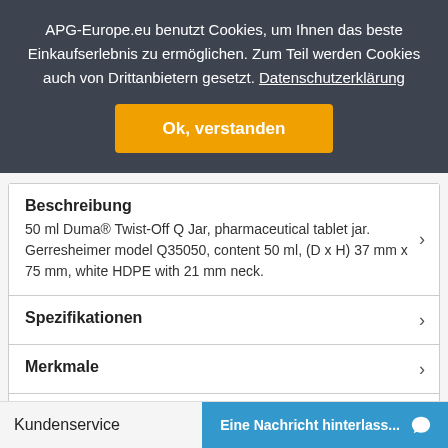APG-Europe.eu benutzt Cookies, um Ihnen das beste Einkaufserlebnis zu ermöglichen. Zum Teil werden Cookies auch von Drittanbietern gesetzt. Datenschutzerklärung
Ok, verstanden
Beschreibung
50 ml Duma® Twist-Off Q Jar, pharmaceutical tablet jar. Gerresheimer model Q35050, content 50 ml, (D x H) 37 mm x 75 mm, white HDPE with 21 mm neck.
Spezifikationen
Merkmale
Unterlagen
Kundenservice
Eine Nachricht hinterlass...